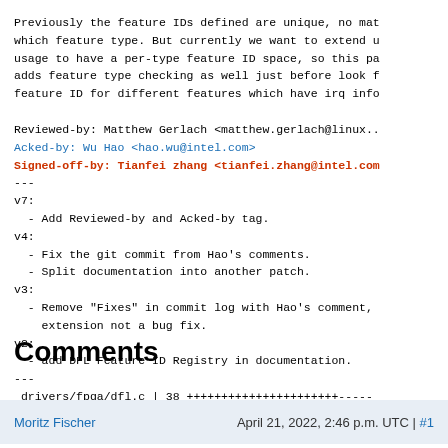Previously the feature IDs defined are unique, no matter which feature type. But currently we want to extend usage to have a per-type feature ID space, so this patch adds feature type checking as well just before look for feature ID for different features which have irq info
Reviewed-by: Matthew Gerlach <matthew.gerlach@linux...>
Acked-by: Wu Hao <hao.wu@intel.com>
Signed-off-by: Tianfei zhang <tianfei.zhang@intel.com>
---
v7:
  - Add Reviewed-by and Acked-by tag.
v4:
  - Fix the git commit from Hao's comments.
  - Split documentation into another patch.
v3:
  - Remove "Fixes" in commit log with Hao's comment,
    extension not a bug fix.
v2:
  - add DFL Feature ID Registry in documentation.
---
 drivers/fpga/dfl.c | 38 ++++++++++++++++++++++----
 1 file changed, 22 insertions(+), 16 deletions(-)
Comments
Moritz Fischer    April 21, 2022, 2:46 p.m. UTC | #1